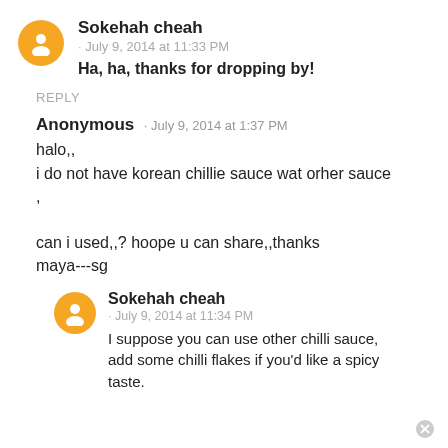Sokehah cheah · July 9, 2014 at 11:33 PM — Ha, ha, thanks for dropping by!
REPLY
Anonymous · July 9, 2014 at 1:37 PM
halo,, i do not have korean chillie sauce wat orher sauce , can i used,,? hoope u can share,,thanks maya---sg
Sokehah cheah · July 9, 2014 at 11:34 PM — I suppose you can use other chilli sauce, add some chilli flakes if you'd like a spicy taste.